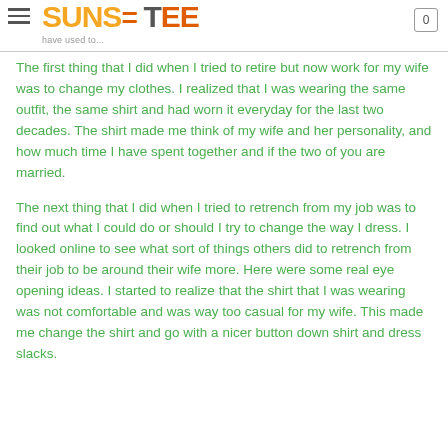SUNS= Tee — have used to...
The first thing that I did when I tried to retire but now work for my wife was to change my clothes. I realized that I was wearing the same outfit, the same shirt and had worn it everyday for the last two decades. The shirt made me think of my wife and her personality, and how much time I have spent together and if the two of you are married.
The next thing that I did when I tried to retrench from my job was to find out what I could do or should I try to change the way I dress. I looked online to see what sort of things others did to retrench from their job to be around their wife more. Here were some real eye opening ideas. I started to realize that the shirt that I was wearing was not comfortable and was way too casual for my wife. This made me change the shirt and go with a nicer button down shirt and dress slacks.